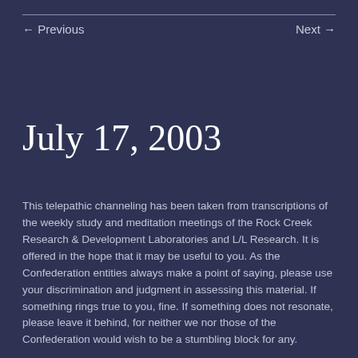← Previous    Next →
July 17, 2003
This telepathic channeling has been taken from transcriptions of the weekly study and meditation meetings of the Rock Creek Research & Development Laboratories and L/L Research. It is offered in the hope that it may be useful to you. As the Confederation entities always make a point of saying, please use your discrimination and judgment in assessing this material. If something rings true to you, fine. If something does not resonate, please leave it behind, for neither we nor those of the Confederation would wish to be a stumbling block for any.